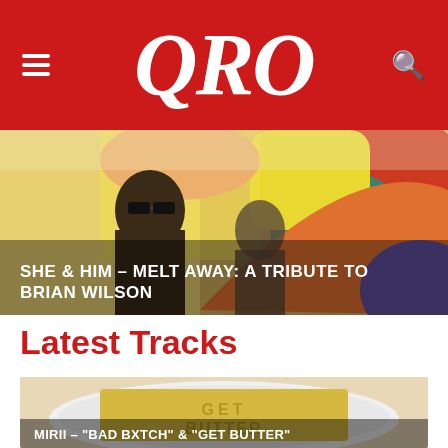QRO
[Figure (photo): She & Him band members in front of colorful mural/illustration with sunglasses]
SHE & HIM – MELT AWAY: A TRIBUTE TO BRIAN WILSON
Latest Tracks
[Figure (photo): Butter on a white dish with GET BUTTER text stamped into it]
MIRII – "BAD BXTCH" & "GET BUTTER"